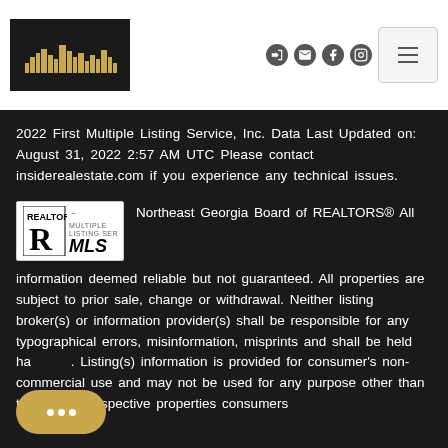[Figure (logo): Atlanta Communities Real Estate Brokerage logo - dark background with gold city skyline silhouette]
[Figure (logo): Navigation icons: login, mail, Facebook, Instagram, and hamburger menu button]
2022 First Multiple Listing Service, Inc. Data Last Updated on: August 31, 2022 2:57 AM UTC Please contact insiderealestate.com if you experience any technical issues.
[Figure (logo): REALTOR MLS logo - white box with R logo and MLS text in black]
Northeast Georgia Board of REALTORS® All information deemed reliable but not guaranteed. All properties are subject to prior sale, change or withdrawal. Neither listing broker(s) or information provider(s) shall be responsible for any typographical errors, misinformation, misprints and shall be held harmless. Listing(s) information is provided for consumer's non-commercial use and may not be used for any purpose other than to identify prospective properties consumers